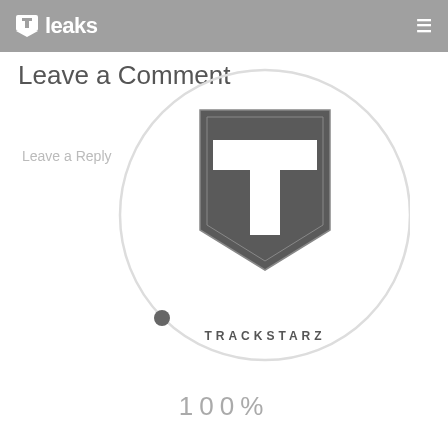Tleaks
Leave a Comment
Leave a Reply
[Figure (logo): Trackstarz logo inside a circular progress/loading ring at 100%, showing a shield-shaped badge with a large T letter and TRACKSTARZ text below]
100%